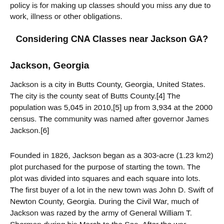policy is for making up classes should you miss any due to work, illness or other obligations.
Considering CNA Classes near Jackson GA?
Jackson, Georgia
Jackson is a city in Butts County, Georgia, United States. The city is the county seat of Butts County.[4] The population was 5,045 in 2010,[5] up from 3,934 at the 2000 census. The community was named after governor James Jackson.[6]
Founded in 1826, Jackson began as a 303-acre (1.23 km2) plot purchased for the purpose of starting the town. The plot was divided into squares and each square into lots. The first buyer of a lot in the new town was John D. Swift of Newton County, Georgia. During the Civil War, much of Jackson was razed by the army of General William T. Sherman during his March to the Sea. After the war, Jackson, like much of the